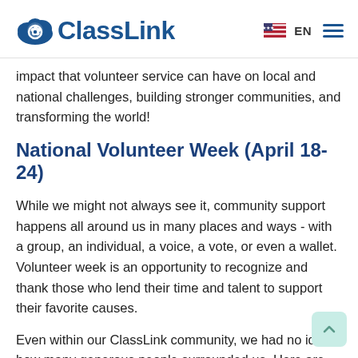ClassLink | EN
impact that volunteer service can have on local and national challenges, building stronger communities, and transforming the world!
National Volunteer Week (April 18-24)
While we might not always see it, community support happens all around us in many places and ways - with a group, an individual, a voice, a vote, or even a wallet. Volunteer week is an opportunity to recognize and thank those who lend their time and talent to support their favorite causes.
Even within our ClassLink community, we had no idea how many generous people surrounded us. Here are just a few examples of team members who give back to